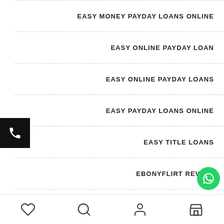EASY MONEY PAYDAY LOANS ONLINE
EASY ONLINE PAYDAY LOAN
EASY ONLINE PAYDAY LOANS
EASY PAYDAY LOANS ONLINE
EASY TITLE LOANS
EBONYFLIRT REVIEW
EBONYFLIRT REVIEWS
ECHAT PC
Heart icon | Search icon | Person icon | Store icon